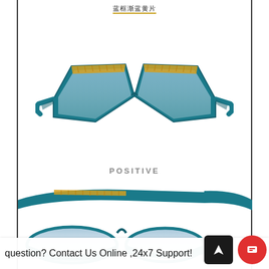蓝框渐蓝黄片
[Figure (photo): Front view of teal/blue cat-eye sunglasses with gold patterned top edge and gradient blue lenses]
POSITIVE
[Figure (photo): Side/three-quarter view of teal cat-eye sunglasses with gold detail, showing frame arms and lenses from below]
question? Contact Us Online ,24x7 Support!